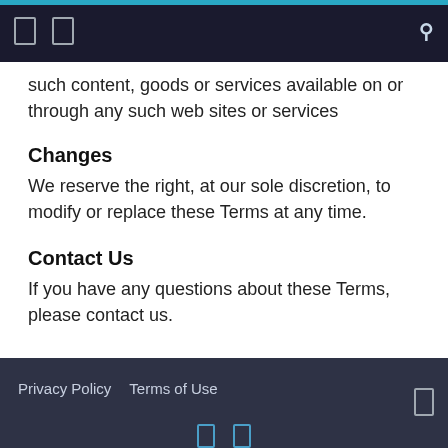such content, goods or services available on or through any such web sites or services
Changes
We reserve the right, at our sole discretion, to modify or replace these Terms at any time.
Contact Us
If you have any questions about these Terms, please contact us.
Privacy Policy   Terms of Use